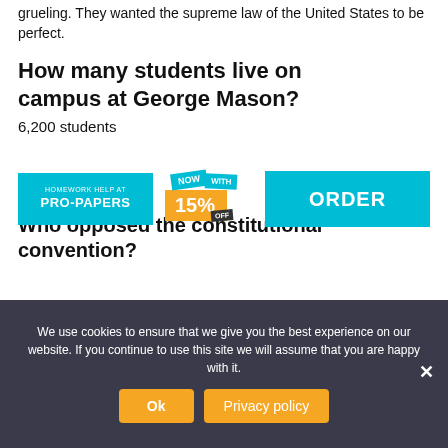grueling. They wanted the supreme law of the United States to be perfect.
How many students live on campus at George Mason?
6,200 students
[Figure (infographic): Pro-Papers homework help advertisement banner with 'NOW WITH 15% OFF' offer and ORDER button]
Who opposed the constitutional convention?
We use cookies to ensure that we give you the best experience on our website. If you continue to use this site we will assume that you are happy with it.
Ok   Privacy policy